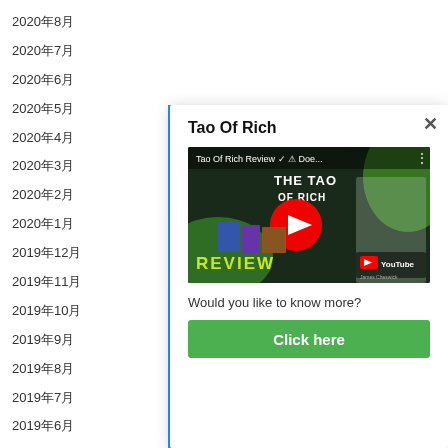2020年8月
2020年7月
2020年6月
2020年5月
2020年4月
2020年3月
2020年2月
2020年1月
2019年12月
2019年11月
2019年10月
2019年9月
2019年8月
2019年7月
2019年6月
Tao Of Rich
[Figure (screenshot): YouTube video thumbnail for 'Tao Of Rich Review' showing a man with products and play button overlay]
Would you like to know more?
Click here